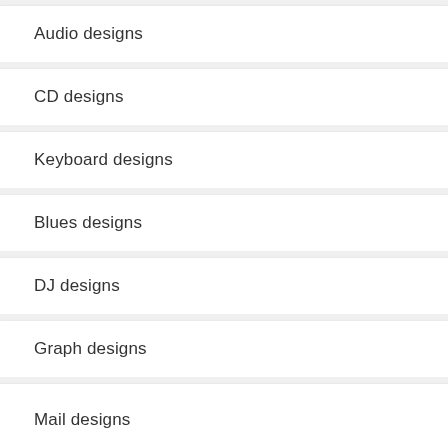Audio designs
CD designs
Keyboard designs
Blues designs
DJ designs
Graph designs
Mail designs